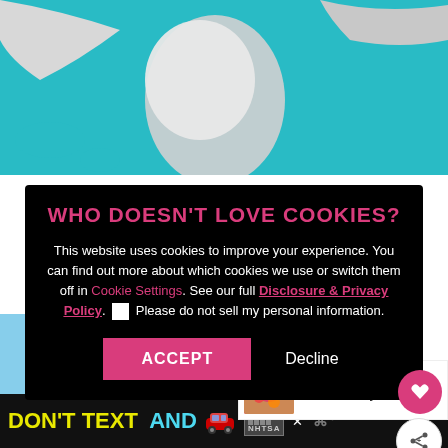[Figure (map): Partial world map (North Pole region) showing teal/blue ocean and gray/white landmasses including Greenland]
WHO DOESN'T LOVE COOKIES?
This website uses cookies to improve your experience. You can find out more about which cookies we use or switch them off in Cookie Settings. See our full Disclosure & Privacy Policy. ☐ Please do not sell my personal information.
[Figure (other): ACCEPT button (pink/magenta) and Decline button (white text on black)]
[Figure (other): What's Next panel: food image thumbnail with text 'WHAT'S NEXT → Where To Stay and Eat in...']
[Figure (photo): Blue sky photograph strip at bottom of page]
[Figure (infographic): DON'T TEXT AND [car emoji] ad banner with NHTSA logo at bottom of page]